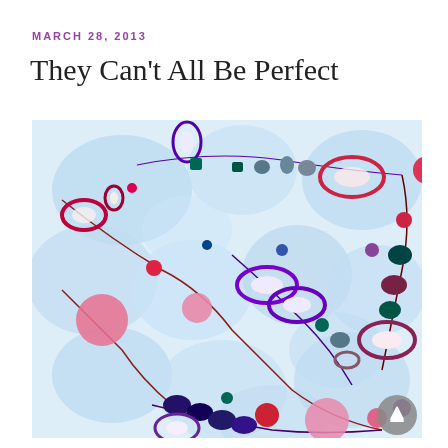MARCH 28, 2013
They Can't All Be Perfect
[Figure (illustration): Abstract watercolor and mixed media artwork featuring colorful oval and circular bead-like shapes in red, purple, pink, dark teal, and blue, connected by thin curved lines resembling necklaces or organic cell structures, set against a light blue watercolor background with rounded leaf/petal shapes.]